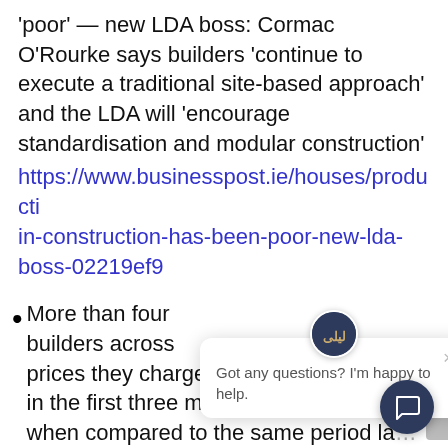'poor' — new LDA boss: Cormac O'Rourke says builders 'continue to execute a traditional site-based approach' and the LDA will 'encourage standardisation and modular construction'
https://www.businesspost.ie/houses/producti in-construction-has-been-poor-new-lda-boss-02219ef9
More than four builders across prices they charge for projects will rise in the first three months of the year when compared to the same period la... year, a new survey of the industry has...
[Figure (screenshot): Chat widget popup with avatar icon and message 'Got any questions? I'm happy to help.' with a close X button, and a circular dark blue chat button at bottom right.]